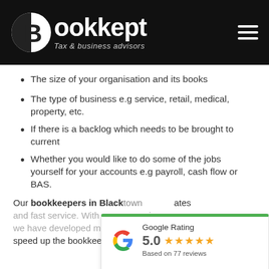[Figure (logo): Bookkept Tax & business advisors logo with circular moon/B icon on black header background]
The size of your organisation and its books
The type of business e.g service, retail, medical, property, etc.
If there is a backlog which needs to be brought to current
Whether you would like to do some of the jobs yourself for your accounts e.g payroll, cash flow or BAS.
Our bookkeepers in Black[town] ... rates and fast service. With ma[ny years experience], we have developed many [tools to] speed up the bookkeeping processes without
[Figure (infographic): Google Rating widget showing 5.0 stars based on 77 reviews]